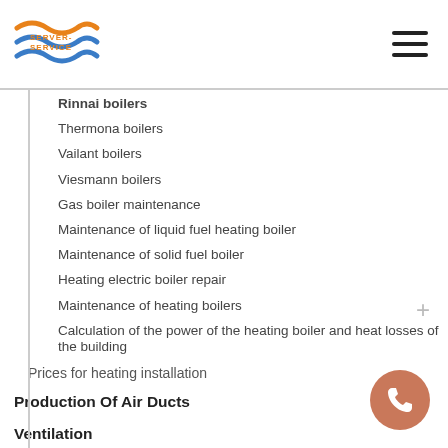Server-Service logo and navigation
Rinnai boilers
Thermona boilers
Vailant boilers
Viesmann boilers
Gas boiler maintenance
Maintenance of liquid fuel heating boiler
Maintenance of solid fuel boiler
Heating electric boiler repair
Maintenance of heating boilers
Calculation of the power of the heating boiler and heat losses of the building
Prices for heating installation
Production Of Air Ducts
Ventilation